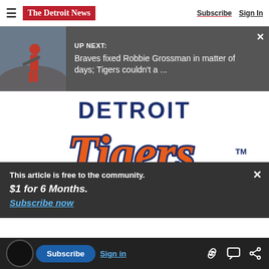The Detroit News — Subscribe | Sign In
UP NEXT: Braves fixed Robbie Grossman in matter of days; Tigers couldn't a ...
[Figure (logo): Detroit Tigers script logo with 'DETROIT' in bold navy text above and 'Tigers' in large orange script lettering with navy outline, followed by TM symbol]
This article is free to the community.
$1 for 6 Months.
Subscribe now
Payback: Isaac Paredes reminds Tigers what they dealt away in April
baseball? Numbers say it's Tigers' Jonathan